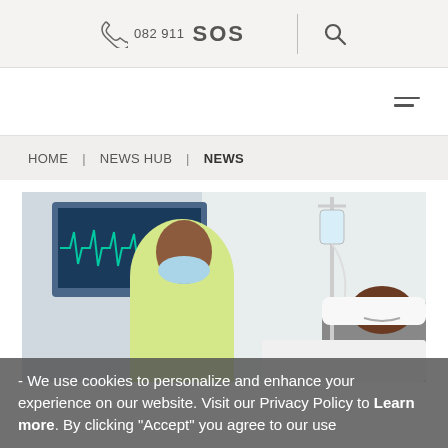082 911 SOS
HOME | NEWS HUB | NEWS
[Figure (photo): A healthcare worker wearing a yellow PPE gown and blue surgical mask stands beside a patient lying in a hospital bed. A medical monitor with waveforms is visible in the background.]
- We use cookies to personalize and enhance your experience on our website. Visit our Privacy Policy to Learn more. By clicking "Accept" you agree to our use